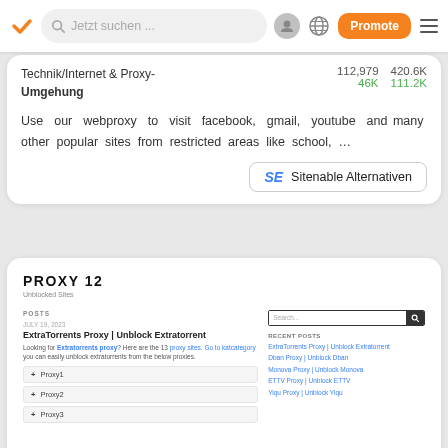Jetzt suchen ... Promote
Technik/Internet & Proxy-Umgehung  112,979  420.6K  46K  111.2K
Use our webproxy to visit facebook, gmail, youtube and many other popular sites from restricted areas like school, …
SE  Sitenable Alternativen
PROXY 12
Unblocked Sites
POSTS
ExtraTorrents Proxy | Unblock Extratorrent
Looking for Extratorrents proxy? Here are the 13 proxy sites. Go to katcategory you can easily unblock extratorrents from the below proxies.
+ Proxy1
+ Proxy2
+ Proxy3
RECENT POSTS: ExtraTorrents Proxy | Unblock Extratorrent, Dban Proxy | Unblock Dban, Monova Proxy | Unblock Monova, ETTV Proxy | Unblock ETTV, Yiqu Proxy | Unblock Yiqu